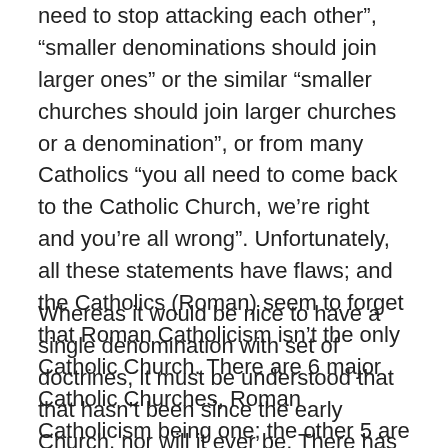need to stop attacking each other", “smaller denominations should join larger ones” or the similar “smaller churches should join larger churches or a denomination”, or from many Catholics “you all need to come back to the Catholic Church, we’re right and you’re all wrong”. Unfortunately, all these statements have flaws; and the Catholics (Roman) seem to forget that Roman Catholicism isn’t the only Catholic Church. There are 6 major Catholic Churches, Roman Catholicism being one; the other 5 are spread across Russia, the Mideast, and Africa.
Whereas it would be nice to have a single denomination with set of doctrines, it must be understood that that hasn’t been since the early Church, nor will it ever be. There has always been, and always will be, multiple denominations with their own doctrines. What holds the different